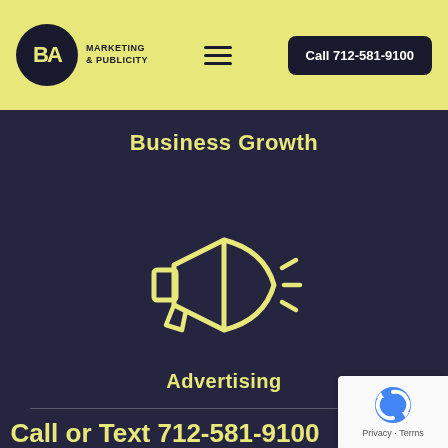BA Marketing & Publicity | Call 712-581-9100
Business Growth
[Figure (illustration): Megaphone/bullhorn icon in yellow outline style on dark background, with sound wave lines radiating to the right]
Advertising
Call or Text 712-581-9100
[Figure (logo): Google reCAPTCHA badge with circular arrow icon and Privacy - Terms text]